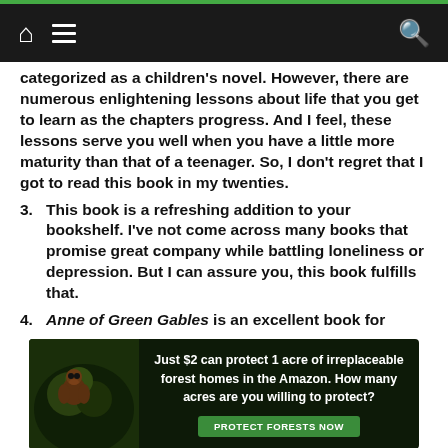Navigation bar with home, menu, and search icons
categorized as a children's novel. However, there are numerous enlightening lessons about life that you get to learn as the chapters progress. And I feel, these lessons serve you well when you have a little more maturity than that of a teenager. So, I don't regret that I got to read this book in my twenties.
3. This book is a refreshing addition to your bookshelf. I've not come across many books that promise great company while battling loneliness or depression. But I can assure you, this book fulfills that.
4. Anne of Green Gables is an excellent book for
[Figure (infographic): Advertisement banner: Just $2 can protect 1 acre of irreplaceable forest homes in the Amazon. How many acres are you willing to protect? PROTECT FORESTS NOW]
Scroll indicator arrow